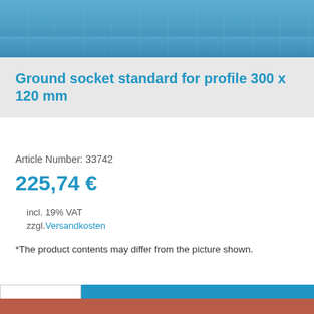[Figure (photo): Blue textured grid/mesh background banner image at the top of the page]
Ground socket standard for profile 300 x 120 mm
Article Number: 33742
225,74 €
incl. 19% VAT
zzgl. Versandkosten
*The product contents may differ from the picture shown.
1   Add to Quote
[Figure (photo): Rust/terracotta colored strip at the bottom of the page]